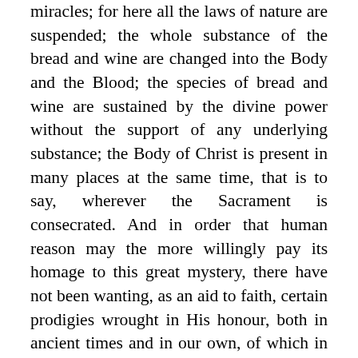miracles; for here all the laws of nature are suspended; the whole substance of the bread and wine are changed into the Body and the Blood; the species of bread and wine are sustained by the divine power without the support of any underlying substance; the Body of Christ is present in many places at the same time, that is to say, wherever the Sacrament is consecrated. And in order that human reason may the more willingly pay its homage to this great mystery, there have not been wanting, as an aid to faith, certain prodigies wrought in His honour, both in ancient times and in our own, of which in more than one place there exist public and notable records and memorials. It is plain that by this Sacrament faith is fed,